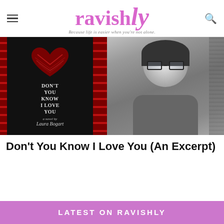ravishly — Because life is easier when you're not alone.
[Figure (photo): Book cover of 'Don't You Know I Love You, a novel by Laura Bogart' showing a yarn-wrapped heart on dark background, alongside a black-and-white author photo of Laura Bogart wearing glasses]
Don't You Know I Love You (An Excerpt)
LATEST ON RAVISHLY